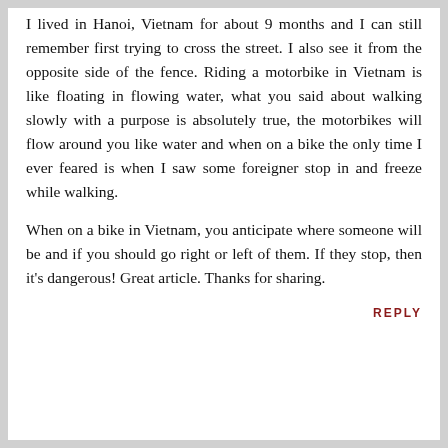I lived in Hanoi, Vietnam for about 9 months and I can still remember first trying to cross the street. I also see it from the opposite side of the fence. Riding a motorbike in Vietnam is like floating in flowing water, what you said about walking slowly with a purpose is absolutely true, the motorbikes will flow around you like water and when on a bike the only time I ever feared is when I saw some foreigner stop in and freeze while walking.
When on a bike in Vietnam, you anticipate where someone will be and if you should go right or left of them. If they stop, then it's dangerous! Great article. Thanks for sharing.
REPLY